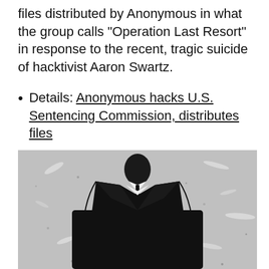files distributed by Anonymous in what the group calls "Operation Last Resort" in response to the recent, tragic suicide of hacktivist Aaron Swartz.
Details: Anonymous hacks U.S. Sentencing Commission, distributes files
[Figure (photo): Black and white photo of the Anonymous figure: a headless person in a black suit with white shirt and black tie, standing against a textured grey background]